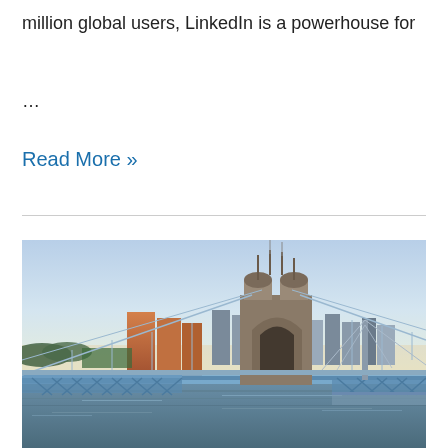million global users, LinkedIn is a powerhouse for
…
Read More »
[Figure (photo): Aerial view of a suspension bridge (John A. Roebling Suspension Bridge) over a river with a city skyline in the background, photographed at dusk with warm orange tones on the buildings and a light blue sky.]